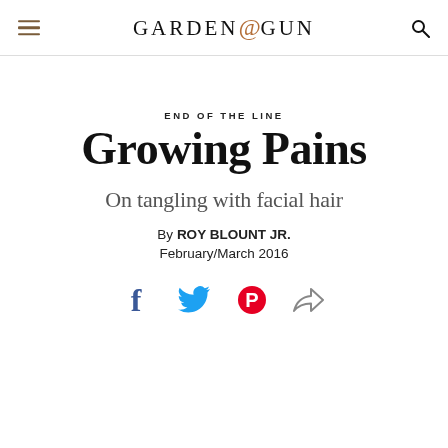GARDEN & GUN
END OF THE LINE
Growing Pains
On tangling with facial hair
By ROY BLOUNT JR.
February/March 2016
[Figure (other): Social sharing icons: Facebook, Twitter, Pinterest, Email/share]